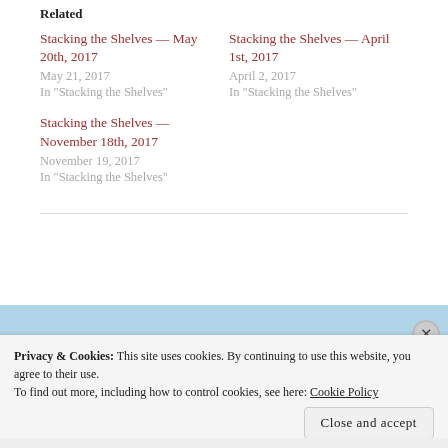Related
Stacking the Shelves — May 20th, 2017
May 21, 2017
In 'Stacking the Shelves'
Stacking the Shelves — April 1st, 2017
April 2, 2017
In 'Stacking the Shelves'
Stacking the Shelves — November 18th, 2017
November 19, 2017
In 'Stacking the Shelves'
Privacy & Cookies: This site uses cookies. By continuing to use this website, you agree to their use.
To find out more, including how to control cookies, see here: Cookie Policy
Close and accept